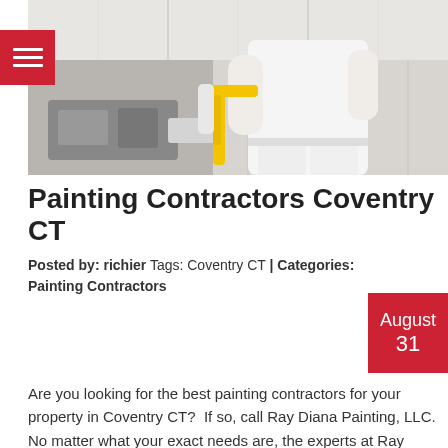[Figure (photo): A painter in white clothing using a yellow-handled paint roller on a ceiling or wall surface, with painting equipment visible]
Painting Contractors Coventry CT
Posted by: richier Tags: Coventry CT | Categories: Painting Contractors
August 31
Are you looking for the best painting contractors for your property in Coventry CT?  If so, call Ray Diana Painting, LLC. No matter what your exact needs are, the experts at Ray Diana Painting are ready to exceed